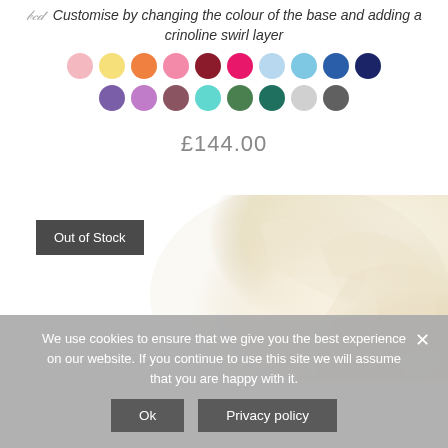Customise by changing the colour of the base and adding a crinoline swirl layer
[Figure (other): Color swatch circles in two rows: row 1 — light pink, yellow, orange, hot pink, dark red, magenta, light blue, sky blue, navy; row 2 — dark navy, purple, lilac, mauve, teal, green, dark teal, light grey, dark grey]
£144.00
[Figure (photo): Close-up photo of a cream/ivory ruffled fabric or floral arrangement, occupying the right side of the product image area]
Out of Stock
We use cookies to ensure that we give you the best experience on our website. If you continue to use this site we will assume that you are happy with it.
Ok
Privacy policy